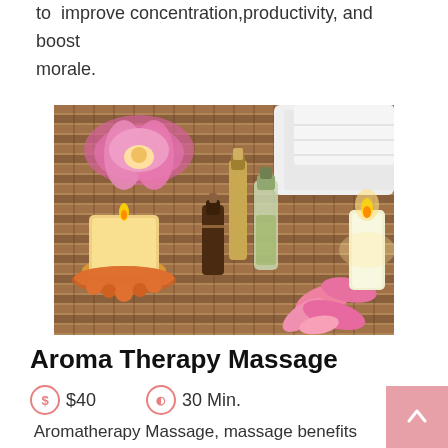to improve concentration,productivity, and boost morale.
[Figure (photo): Spa aromatherapy setup with essential oil bottles, lit candles, pink lotus flower, white towels, and pink flower petals on a bamboo mat]
Aroma Therapy Massage
$40    30 Min.
Aromatherapy Massage, massage benefits can be enhanced even further by using essential oils in conjuction with massage to treat a client's specific